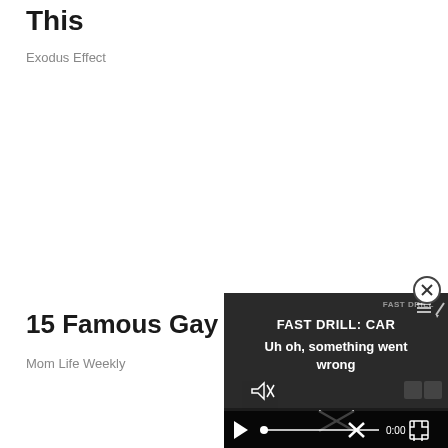This
Exodus Effect
15 Famous Gay Men Who...
Mom Life Weekly
[Figure (screenshot): Video player overlay showing error message 'Uh oh, something went wrong' with FAST DRILL: CAR label, muted speaker icon, playback controls, timestamp 0:00, and fullscreen button. A close (X) button appears in the top right corner of the overlay.]